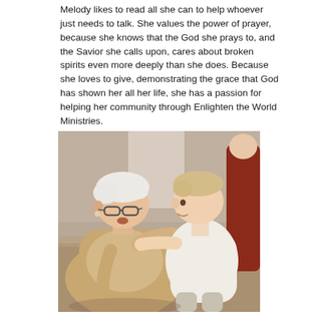Melody likes to read all she can to help whoever just needs to talk. She values the power of prayer, because she knows that the God she prays to, and the Savior she calls upon, cares about broken spirits even more deeply than she does. Because she loves to give, demonstrating the grace that God has shown her all her life, she has a passion for helping her community through Enlighten the World Ministries.
[Figure (photo): An elderly white-haired woman with glasses, wearing a beige top, interacting with a young toddler/child in a white shirt. The child is facing her and appears to be reaching toward her. There is a person in a red garment visible on the right edge. The scene appears to be indoors.]